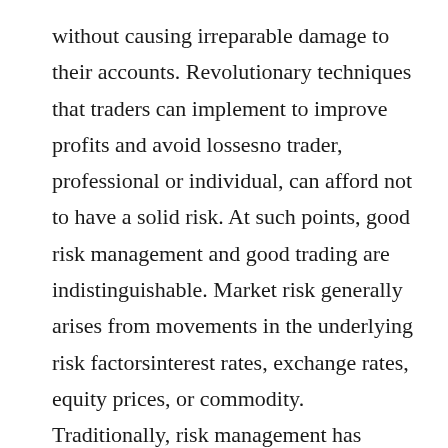without causing irreparable damage to their accounts. Revolutionary techniques that traders can implement to improve profits and avoid lossesno trader, professional or individual, can afford not to have a solid risk. At such points, good risk management and good trading are indistinguishable. Market risk generally arises from movements in the underlying risk factorsinterest rates, exchange rates, equity prices, or commodity. Traditionally, risk management has focused solely on loss avoidance, but in trading risk,